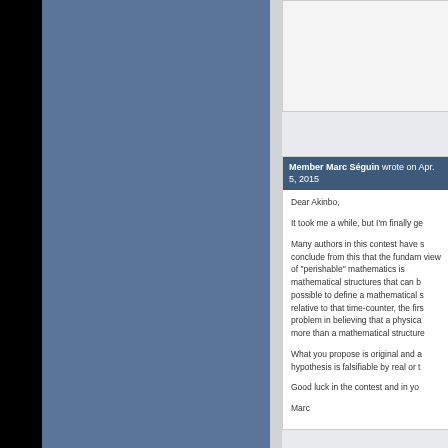Member Marc Séguin wrote on Apr. 5, 2015
Dear Akinbo,
It took me a while, but I'm finally ge...
Many authors in this contest have s... conclude from this that the fundam... view of "perishable" mathematics is... mathematical structures that can b... possible to define a mathematical s... relative to that time-counter, the firs... problem in believing that a physica... more than a mathematical structure...
What you propose is original and a... hypothesis is falsifiable by real or t...
Good luck in the contest and in yo...
Marc